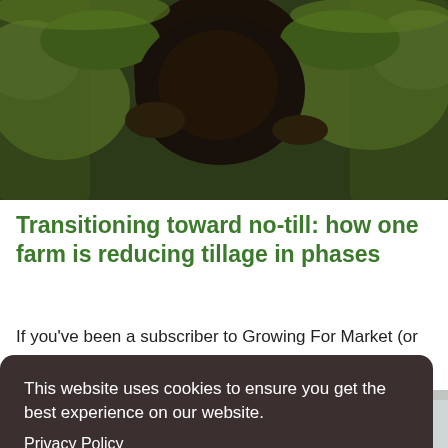[Figure (photo): Close-up photo of dark rich soil or compost against green grass, showing tillage or no-till practice]
Transitioning toward no-till: how one farm is reducing tillage in phases
If you've been a subscriber to Growing For Market (or even if you haven't), you're probably familiar with the many advantages of no-till agriculture. No-till methods
This website uses cookies to ensure you get the best experience on our website.
Privacy Policy
Got it!
[Figure (photo): Partial view of a farm structure or greenhouse, visible at the bottom of the page beneath the cookie banner]